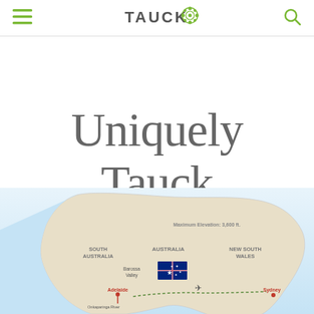TAUCK
Uniquely Tauck
[Figure (map): Partial map of Australia showing South Australia, New South Wales, Barossa Valley, Adelaide, Onkaparinga River, Sydney. Australian flag shown. Maximum Elevation: 3,600 ft label visible. Tour route dotted line visible.]